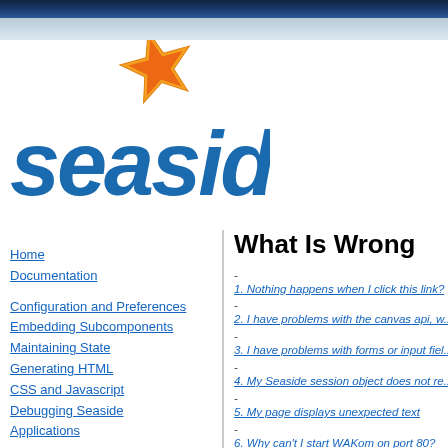[Figure (logo): Seaside web framework logo with blue italic 'seaside' text and orange/red star graphic]
Home
Documentation
Configuration and Preferences
Embedding Subcomponents
Maintaining State
Generating HTML
CSS and Javascript
Debugging Seaside
Applications
What Is Wrong
1. Nothing happens when I click this link?
2. I have problems with the canvas api, w...
3. I have problems with forms or input fiel...
4. My Seaside session object does not re...
5. My page displays unexpected text
6. Why can't I start WAKom on port 80?
Nothing happens when I...